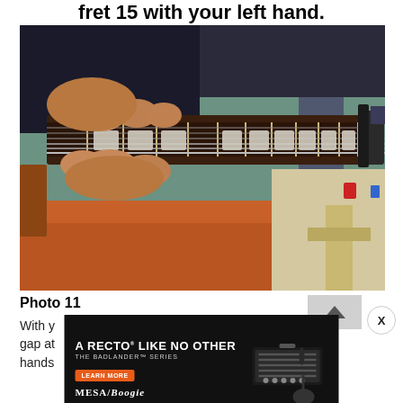fret 15 with your left hand.
[Figure (photo): Close-up photograph of hands playing an electric guitar neck on a workshop stand with frets and inlays visible, guitar resting on an orange cloth in a workshop setting.]
Photo 11
With y... the gap at... our hands...
[Figure (infographic): Advertisement for Mesa/Boogie Badlander Series amplifier: 'A RECTO LIKE NO OTHER - THE BADLANDER SERIES' with LEARN MORE button in orange, Mesa/Boogie logo, and image of guitar amplifier head with a guitar silhouette.]